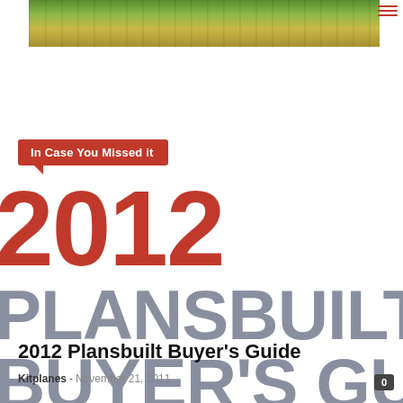[Figure (photo): Horizontal photo strip showing green grassy airfield area with yellow wildflowers and fence in background]
In Case You Missed it
[Figure (illustration): Large bold text logo reading '2012 PLANSBUILT BUYER'S GUIDE' in red and grey block letters, partially cropped]
2012 Plansbuilt Buyer's Guide
Kitplanes - November 21, 2011